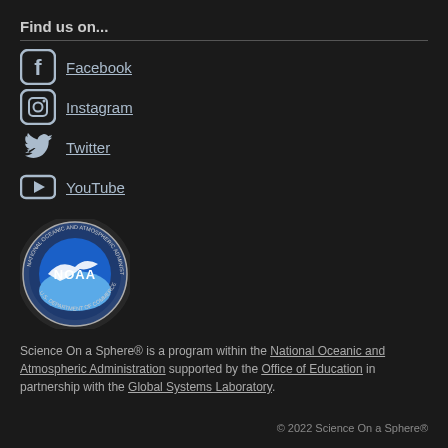Find us on...
Facebook
Instagram
Twitter
YouTube
[Figure (logo): NOAA - National Oceanic and Atmospheric Administration, U.S. Department of Commerce circular seal/logo]
Science On a Sphere® is a program within the National Oceanic and Atmospheric Administration supported by the Office of Education in partnership with the Global Systems Laboratory.
© 2022 Science On a Sphere®